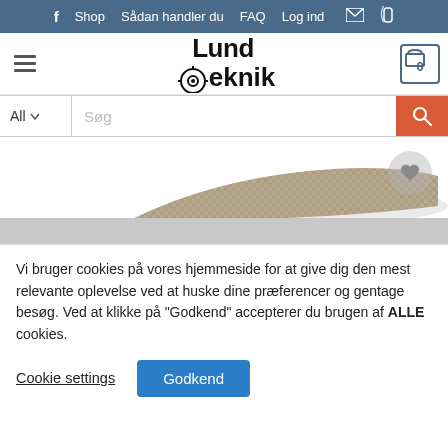f  Shop  Sådan handler du  FAQ  Log ind  ✉  ☎
[Figure (logo): Lundteknik logo with gear icon]
[Figure (screenshot): Search bar with All dropdown, Søg placeholder, and orange search button]
[Figure (photo): Product image showing a mesh/knit material with wishlist heart button]
Vi bruger cookies på vores hjemmeside for at give dig den mest relevante oplevelse ved at huske dine præferencer og gentage besøg. Ved at klikke på "Godkend" accepterer du brugen af ALLE cookies.
Cookie settings  Godkend